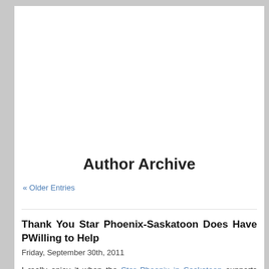Author Archive
« Older Entries
Thank You Star Phoenix-Saskatoon Does Have P... Willing to Help
Friday, September 30th, 2011
I really enjoy it when the Star Phoenix in Saskatoon supports positive stori... media as the news generally seems so dark and depressing. I'm not sure h... they print these articles but I think they should be at least once a week t...